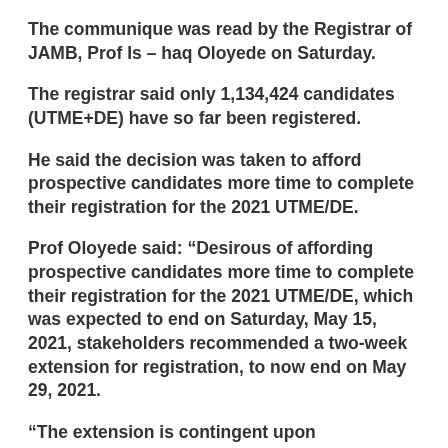The communique was read by the Registrar of JAMB, Prof Is – haq Oloyede on Saturday.
The registrar said only 1,134,424 candidates (UTME+DE) have so far been registered.
He said the decision was taken to afford prospective candidates more time to complete their registration for the 2021 UTME/DE.
Prof Oloyede said: “Desirous of affording prospective candidates more time to complete their registration for the 2021 UTME/DE, which was expected to end on Saturday, May 15, 2021, stakeholders recommended a two-week extension for registration, to now end on May 29, 2021.
“The extension is contingent upon stakeholders’ firm commitment to deliver on their respective responsibilities.
“Accordingly, the 2021 Mock UTME earlier scheduled for 20th May, 2021 will now hold on June 3, 2021